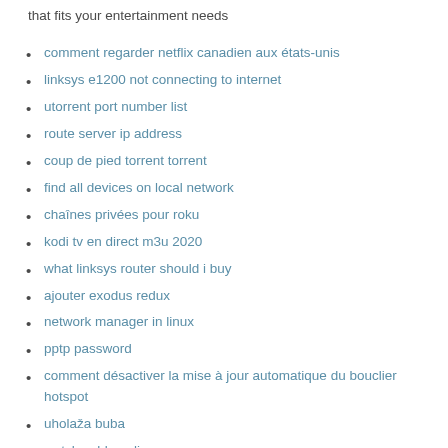that fits your entertainment needs
comment regarder netflix canadien aux états-unis
linksys e1200 not connecting to internet
utorrent port number list
route server ip address
coup de pied torrent torrent
find all devices on local network
chaînes privées pour roku
kodi tv en direct m3u 2020
what linksys router should i buy
ajouter exodus redux
network manager in linux
pptp password
comment désactiver la mise à jour automatique du bouclier hotspot
uholaža buba
watch cable online